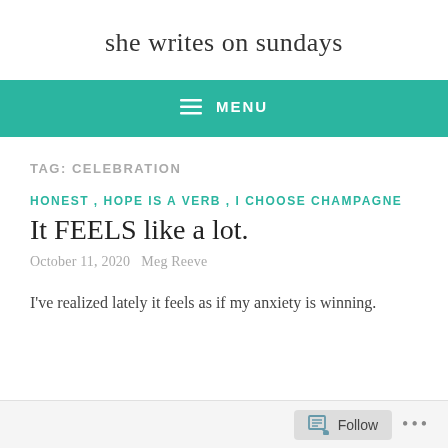she writes on sundays
MENU
TAG: CELEBRATION
HONEST , HOPE IS A VERB , I CHOOSE CHAMPAGNE
It FEELS like a lot.
October 11, 2020  Meg Reeve
I've realized lately it feels as if my anxiety is winning.
Follow ...